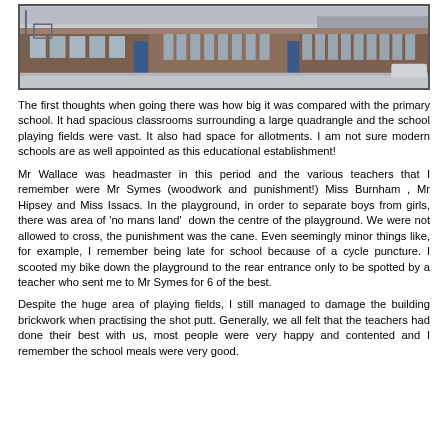[Figure (photo): Exterior photograph of a large brick school building with multiple windows, a blue door, and a playground/forecourt area in the foreground. Grey sky in background.]
The first thoughts when going there was how big it was compared with the primary school. It had spacious classrooms surrounding a large quadrangle and the school playing fields were vast. It also had space for allotments. I am not sure modern schools are as well appointed as this educational establishment!
Mr Wallace was headmaster in this period and the various teachers that I remember were Mr Symes (woodwork and punishment!) Miss Burnham , Mr Hipsey and Miss Issacs. In the playground, in order to separate boys from girls, there was area of 'no mans land'  down the centre of the playground. We were not allowed to cross, the punishment was the cane. Even seemingly minor things like, for example, I remember being late for school because of a cycle puncture. I scooted my bike down the playground to the rear entrance only to be spotted by a teacher who sent me to Mr Symes for 6 of the best.
Despite the huge area of playing fields, I still managed to damage the building brickwork when practising the shot putt. Generally, we all felt that the teachers had done their best with us, most people were very happy and contented and I remember the school meals were very good.